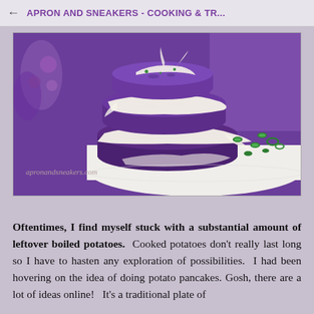← APRON AND SNEAKERS - COOKING & TR...
[Figure (photo): Stack of purple potato pancakes/cakes with white cream sauce drizzled between layers, garnished with chopped green onions on a white plate. Watermark: apronandsneakers.com]
Oftentimes, I find myself stuck with a substantial amount of leftover boiled potatoes. Cooked potatoes don't really last long so I have to hasten any exploration of possibilities. I had been hovering on the idea of doing potato pancakes. Gosh, there are a lot of ideas online! It's a traditional plate of